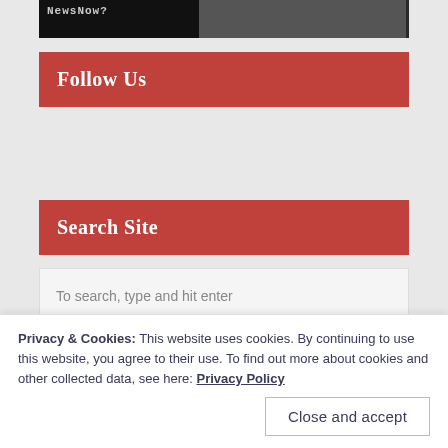[Figure (screenshot): Top banner with dark background showing 'NewsNow?' logo on left and lighter gray area on right]
Follow Us
Search Site
To search, type and hit enter
[Figure (screenshot): Teal/blue banner strip with white circle dot]
Privacy & Cookies: This website uses cookies. By continuing to use this website, you agree to their use. To find out more about cookies and other collected data, see here: Privacy Policy
Close and accept